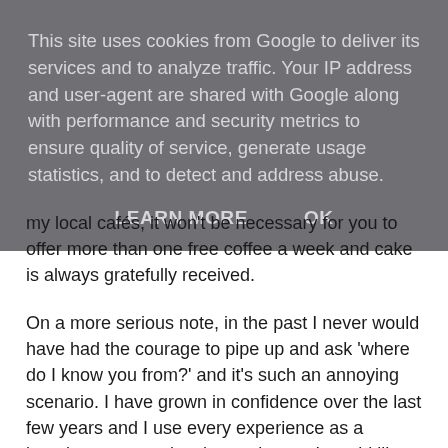This site uses cookies from Google to deliver its services and to analyze traffic. Your IP address and user-agent are shared with Google along with performance and security metrics to ensure quality of service, generate usage statistics, and to detect and address abuse.
LEARN MORE   OK
my local cafés, it won't be necessary for you to offer more than one free coffee a week and cake is always gratefully received.
On a more serious note, in the past I never would have had the courage to pipe up and ask 'where do I know you from?' and it's such an annoying scenario. I have grown in confidence over the last few years and I use every experience as a learning curve to develop and grow. I would like to thank all of the Crafty B's network for helping me along the way! EVEN the couple of negative nellies who may or may not been quite a challenge during the craft fairs.  I'm so sad that when we move I'll not recognise people in random places day to day but I fully intend to put myself out